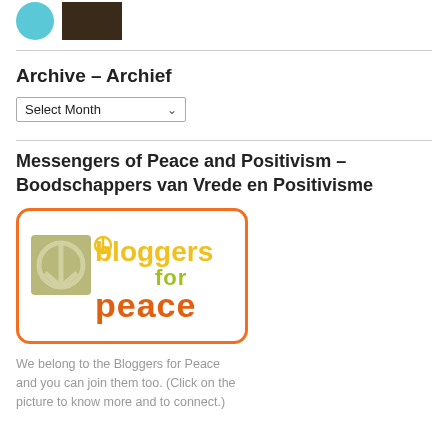[Figure (photo): Two small avatar images at top: a teal/blue circle and a dark rectangular photo]
Archive – Archief
[Figure (other): Select Month dropdown widget]
Messengers of Peace and Positivism – Boodschappers van Vrede en Positivisme
[Figure (logo): Bloggers for Peace logo: colorful retro text with peace symbol]
We belong to the Bloggers for Peace and you can join them too. (Click on the picture to know more and to connect.)